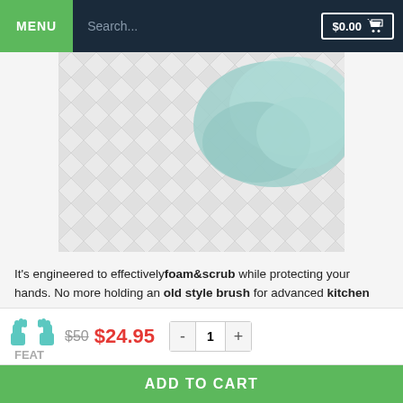MENU  Search...  $0.00 [cart]
[Figure (photo): Close-up product photo showing a white quilted/textured surface with a teal/mint green silicone scrubbing glove or pad on top]
It's engineered to effectively foam&scrub while protecting your hands. No more holding an old style brush for advanced kitchen hygiene
The Non-water absorbent Silicone cleaning bristles do not absorb water, are antibacterial, flexible with no deformation, can be re...
[Figure (photo): Two teal silicone cleaning gloves icon]
$50 $24.95
- 1 +
FEAT
ADD TO CART